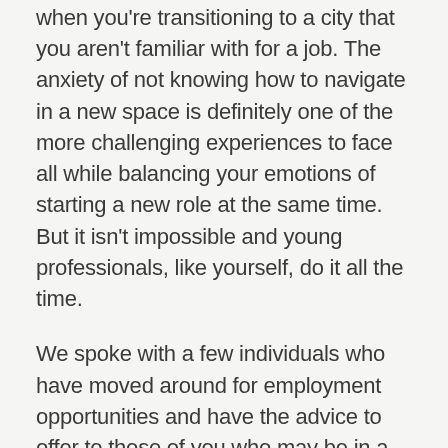when you're transitioning to a city that you aren't familiar with for a job. The anxiety of not knowing how to navigate in a new space is definitely one of the more challenging experiences to face all while balancing your emotions of starting a new role at the same time. But it isn't impossible and young professionals, like yourself, do it all the time.
We spoke with a few individuals who have moved around for employment opportunities and have the advice to offer to those of you who may be in a similar transition in your lives. Continue reading to learn what they would've liked to know as transplants in a new city.
1. Researching the city should be step one